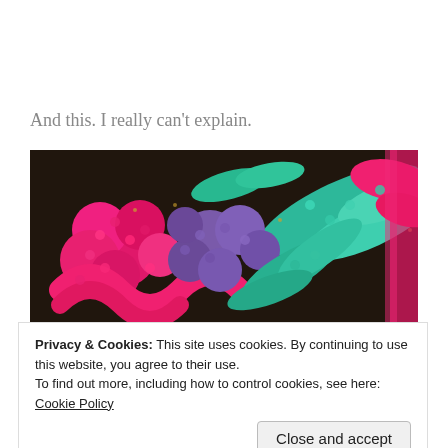And this. I really can't explain.
[Figure (photo): Close-up photograph of colorful sequined fabric with pink, teal/green, and purple sequin patterns resembling flowers and leaves on a dark background.]
Privacy & Cookies: This site uses cookies. By continuing to use this website, you agree to their use.
To find out more, including how to control cookies, see here: Cookie Policy
Maybe it's all those years of dance recitals and